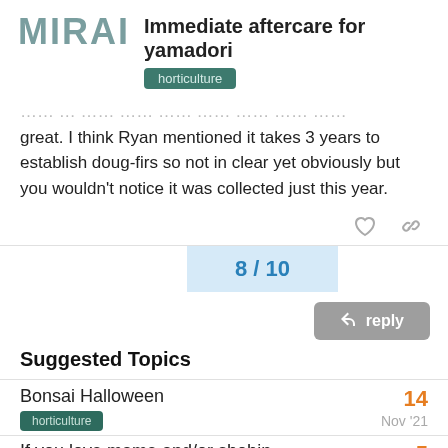MIRAI — Immediate aftercare for yamadori [horticulture]
great. I think Ryan mentioned it takes 3 years to establish doug-firs so not in clear yet obviously but you wouldn't notice it was collected just this year.
8 / 10
reply
Suggested Topics
Bonsai Halloween
14
horticulture  Nov '21
If you love mame and/or shohin
5